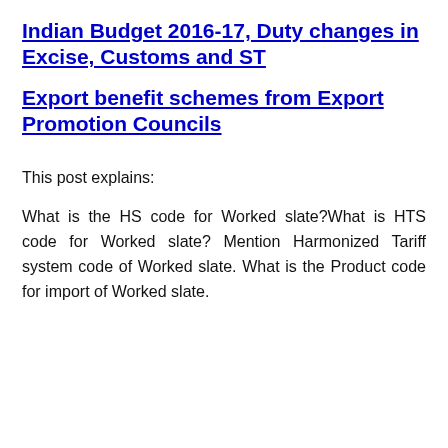Indian Budget 2016-17, Duty changes in Excise, Customs and ST
Export benefit schemes from Export Promotion Councils
This post explains:
What is the HS code for Worked slate?What is HTS code for Worked slate? Mention Harmonized Tariff system code of Worked slate. What is the Product code for import of Worked slate.